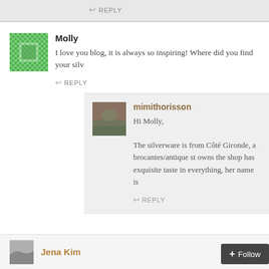↩ REPLY
Molly
I love you blog, it is always so inspiring! Where did you find your silv
↩ REPLY
mimithorisson
Hi Molly,

The silverware is from Côté Gironde, a brocantes/antique st owns the shop has exquisite taste in everything, her name is
↩ REPLY
Jena Kim
+ Follow